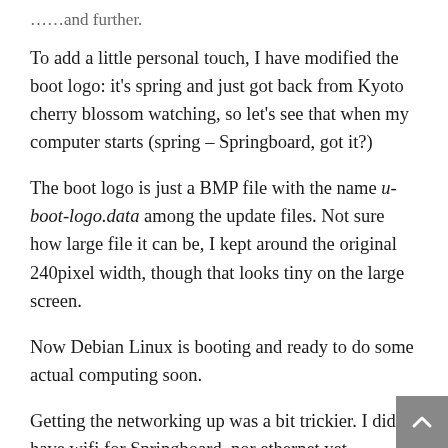…..and further.
To add a little personal touch, I have modified the boot logo: it's spring and just got back from Kyoto cherry blossom watching, so let's see that when my computer starts (spring – Springboard, got it?)
The boot logo is just a BMP file with the name u-boot-logo.data among the update files. Not sure how large file it can be, I kept around the original 240pixel width, though that looks tiny on the large screen.
Now Debian Linux is booting and ready to do some actual computing soon.
Getting the networking up was a bit trickier. I didn't have wifi for Springboard, nor ethernet yet. Fortunately my laptop had wifi connection and a free ethernet port: let's set up my laptop (temporarily) to be the router for the Springboard!